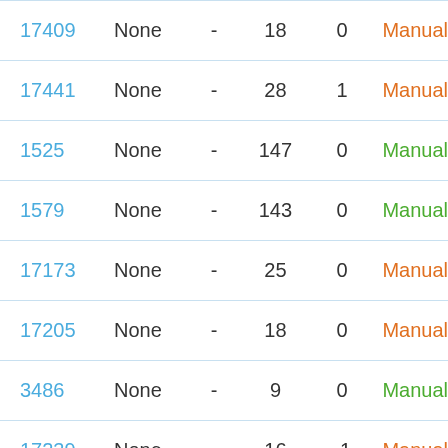| ID | Type | - | Col4 | Col5 | Status |
| --- | --- | --- | --- | --- | --- |
| 17409 | None | - | 18 | 0 | Manual |
| 17441 | None | - | 28 | 1 | Manual |
| 1525 | None | - | 147 | 0 | Manual |
| 1579 | None | - | 143 | 0 | Manual |
| 17173 | None | - | 25 | 0 | Manual |
| 17205 | None | - | 18 | 0 | Manual |
| 3486 | None | - | 9 | 0 | Manual |
| 17239 | None | - | 16 | -1 | Manual |
| 17271 | None | - | 18 | 0 | Manual |